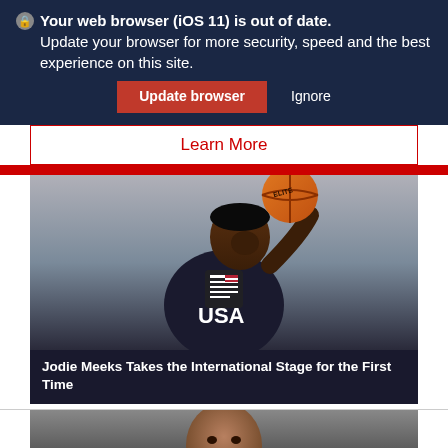🛡 Your web browser (iOS 11) is out of date. Update your browser for more security, speed and the best experience on this site.
Update browser   Ignore
Learn More
[Figure (photo): Basketball player in USA jersey spinning a ball on one finger, with a news article icon overlay]
Jodie Meeks Takes the International Stage for the First Time
[Figure (photo): Partial photo of a man's face, appearing to be a basketball-related article image]